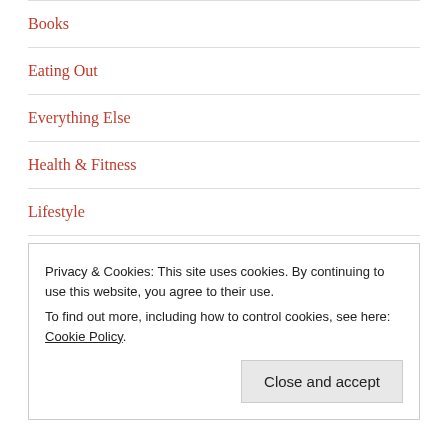Books
Eating Out
Everything Else
Health & Fitness
Lifestyle
London
Style
Privacy & Cookies: This site uses cookies. By continuing to use this website, you agree to their use.
To find out more, including how to control cookies, see here: Cookie Policy
Close and accept